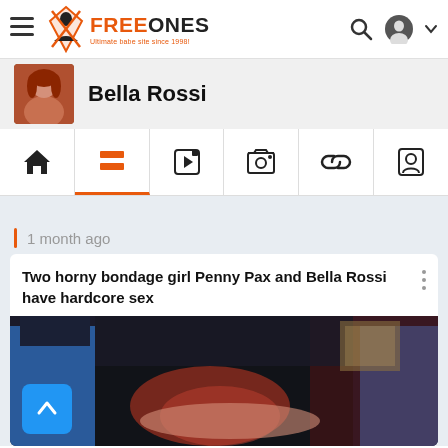FreeOnes - Ultimate babe site since 1998!
Bella Rossi
[Figure (screenshot): Navigation tab bar with home, list, video, photo, link, and profile icons]
1 month ago
Two horny bondage girl Penny Pax and Bella Rossi have hardcore sex
[Figure (photo): Video thumbnail showing bondage scene]